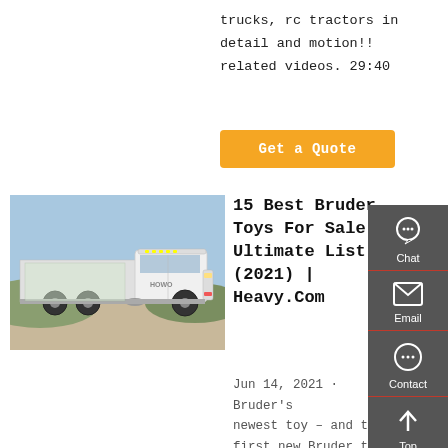trucks, rc tractors in detail and motion!! related videos. 29:40
[Figure (other): Orange 'Get a Quote' button]
[Figure (photo): White semi truck / tractor unit parked in a yard, outdoor photo]
15 Best Bruder Toys For Sale: Ultimate List (2021) | Heavy.Com
Jun 14, 2021 · Bruder's newest toy – and the first new Bruder toy of 2019 – is the Volvo A60H
[Figure (other): Sidebar with Chat, Email, Contact, and Top navigation icons on dark grey background]